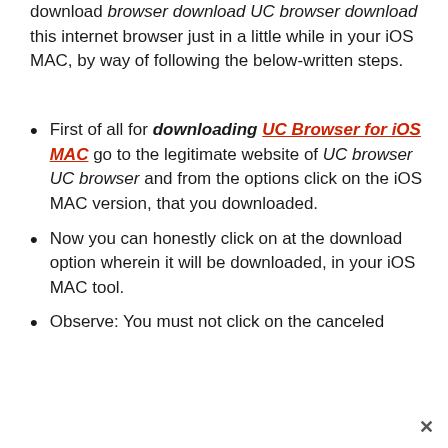download browser download UC browser download this internet browser just in a little while in your iOS MAC, by way of following the below-written steps.
First of all for downloading UC Browser for iOS MAC go to the legitimate website of UC browser UC browser and from the options click on the iOS MAC version, that you downloaded.
Now you can honestly click on at the download option wherein it will be downloaded, in your iOS MAC tool.
Observe: You must not click on the canceled